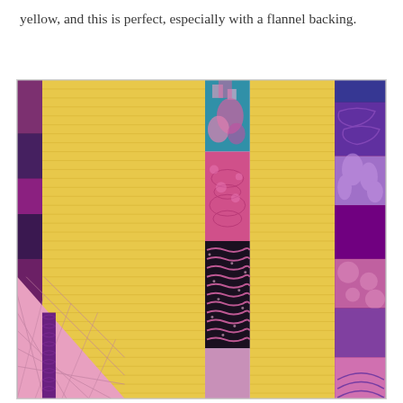yellow, and this is perfect, especially with a flannel backing.
[Figure (photo): Close-up photograph of a quilt featuring yellow background fabric with vertical strips of patchwork in pink, purple, teal, and floral prints. The quilt shows detailed parallel-line quilting on the yellow sections.]